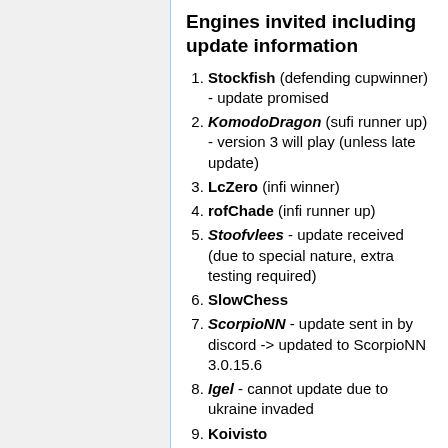Engines invited including update information
Stockfish (defending cupwinner) - update promised
KomodoDragon (sufi runner up) - version 3 will play (unless late update)
LcZero (infi winner)
rofChade (infi runner up)
Stoofvlees - update received (due to special nature, extra testing required)
SlowChess
ScorpioNN - update sent in by discord -> updated to ScorpioNN 3.0.15.6
Igel - cannot update due to ukraine invaded
Koivisto